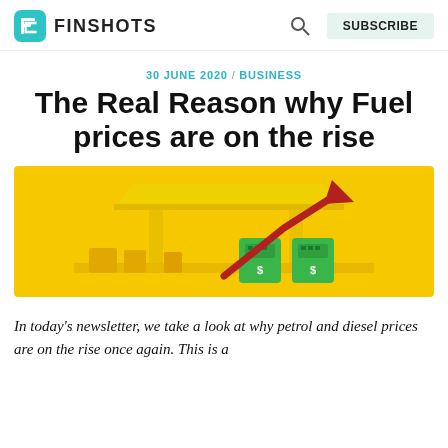FINSHOTS
30 JUNE 2020 / BUSINESS
The Real Reason why Fuel prices are on the rise
[Figure (illustration): Yellow background illustration of a fuel/petrol station with a large upward red arrow indicating rising fuel prices. Green fuel pump dispensers visible at bottom right.]
In today's newsletter, we take a look at why petrol and diesel prices are on the rise once again. This is a